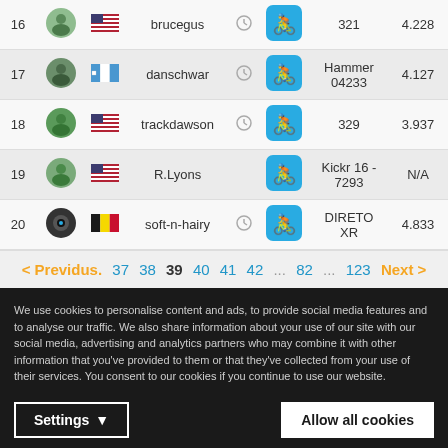| Rank | Avatar | Flag | Username | Clock | Bike | Device | Score |
| --- | --- | --- | --- | --- | --- | --- | --- |
| 16 |  | US | brucegus | clock | cycling | 321 | 4.228 |
| 17 |  | GT | danschwar | clock | cycling | Hammer 04233 | 4.127 |
| 18 |  | US | trackdawson | clock | cycling | 329 | 3.937 |
| 19 |  | US | R.Lyons |  | cycling | Kickr 16 - 7293 | N/A |
| 20 |  | BE | soft-n-hairy | clock | cycling | DIRETO XR | 4.833 |
< Previdus. 37 38 39 40 41 42 ... 82 ... 123 Next >
We use cookies to personalise content and ads, to provide social media features and to analyse our traffic. We also share information about your use of our site with our social media, advertising and analytics partners who may combine it with other information that you've provided to them or that they've collected from your use of their services. You consent to our cookies if you continue to use our website.